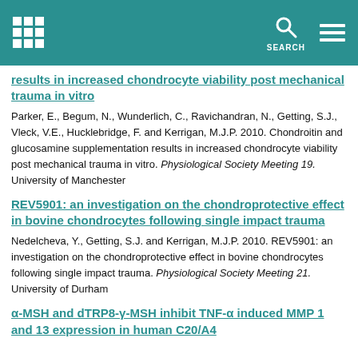SEARCH
results in increased chondrocyte viability post mechanical trauma in vitro
Parker, E., Begum, N., Wunderlich, C., Ravichandran, N., Getting, S.J., Vleck, V.E., Hucklebridge, F. and Kerrigan, M.J.P. 2010. Chondroitin and glucosamine supplementation results in increased chondrocyte viability post mechanical trauma in vitro. Physiological Society Meeting 19. University of Manchester
REV5901: an investigation on the chondroprotective effect in bovine chondrocytes following single impact trauma
Nedelcheva, Y., Getting, S.J. and Kerrigan, M.J.P. 2010. REV5901: an investigation on the chondroprotective effect in bovine chondrocytes following single impact trauma. Physiological Society Meeting 21. University of Durham
α-MSH and dTRP8-γ-MSH inhibit TNF-α induced MMP 1 and 13 expression in human C20/A4